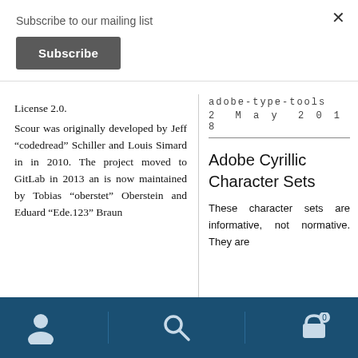Subscribe to our mailing list
Subscribe
License 2.0.
adobe-type-tools
2 May 2018
Scour was originally developed by Jeff “codedread” Schiller and Louis Simard in in 2010. The project moved to GitLab in 2013 an is now maintained by Tobias “oberstet” Oberstein and Eduard “Ede.123” Braun
Adobe Cyrillic Character Sets
These character sets are informative, not normative. They are
user / search / cart (0)